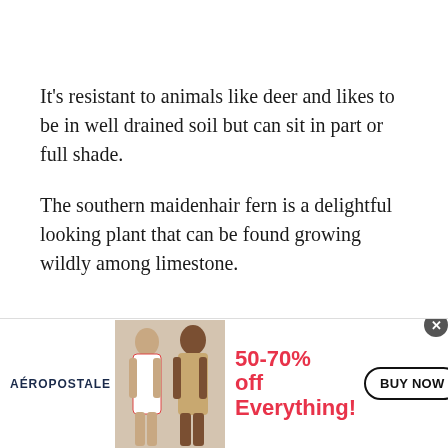It’s resistant to animals like deer and likes to be in well drained soil but can sit in part or full shade.
The southern maidenhair fern is a delightful looking plant that can be found growing wildly among limestone.
[Figure (other): Advertisement banner for Aeropostale featuring two female models, text reading 50-70% off Everything!, and a BUY NOW button.]